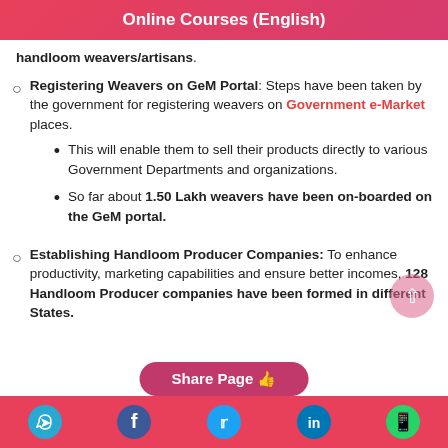Online Courses (English)
handloom weavers/artisans.
Registering Weavers on GeM Portal: Steps have been taken by the government for registering weavers on Government e-Market places.
This will enable them to sell their products directly to various Government Departments and organizations.
So far about 1.50 Lakh weavers have been on-boarded on the GeM portal.
Establishing Handloom Producer Companies: To enhance productivity, marketing capabilities and ensure better incomes, 128 Handloom Producer companies have been formed in different States.
Share Page